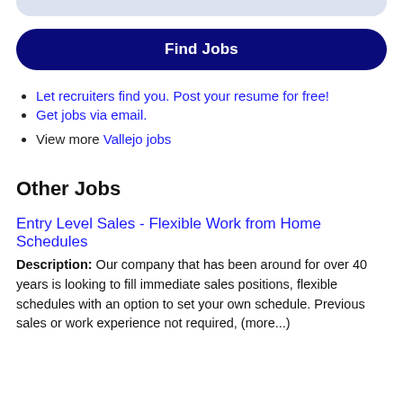[Figure (other): Rounded light blue/gray bar at top of page, partial UI element]
Find Jobs
Let recruiters find you. Post your resume for free!
Get jobs via email.
View more Vallejo jobs
Other Jobs
Entry Level Sales - Flexible Work from Home Schedules
Description: Our company that has been around for over 40 years is looking to fill immediate sales positions, flexible schedules with an option to set your own schedule. Previous sales or work experience not required, (more...)